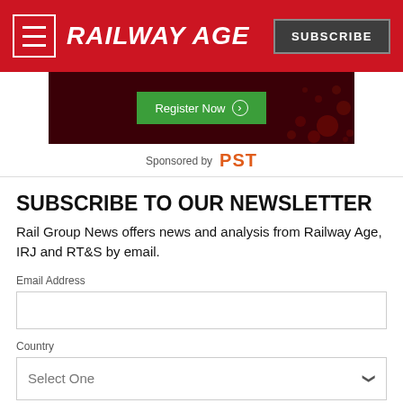RAILWAY AGE | SUBSCRIBE
[Figure (screenshot): Dark red advertisement banner with a green 'Register Now' button and scattered red dot bokeh background]
Sponsored by PST
SUBSCRIBE TO OUR NEWSLETTER
Rail Group News offers news and analysis from Railway Age, IRJ and RT&S by email.
Email Address
Country
Select One